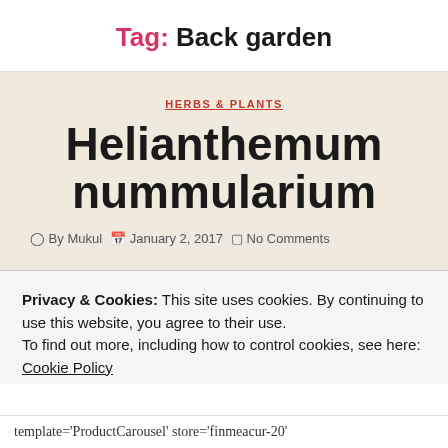Tag: Back garden
HERBS & PLANTS
Helianthemum nummularium
By Mukul   January 2, 2017   No Comments
Privacy & Cookies: This site uses cookies. By continuing to use this website, you agree to their use. To find out more, including how to control cookies, see here: Cookie Policy
CLOSE AND ACCEPT
template='ProductCarousel' store='finmeacur-20'